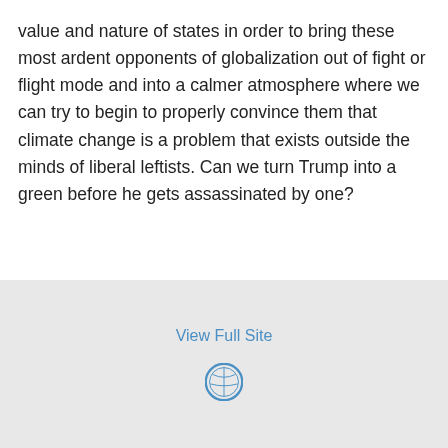value and nature of states in order to bring these most ardent opponents of globalization out of fight or flight mode and into a calmer atmosphere where we can try to begin to properly convince them that climate change is a problem that exists outside the minds of liberal leftists. Can we turn Trump into a green before he gets assassinated by one?
View Full Site